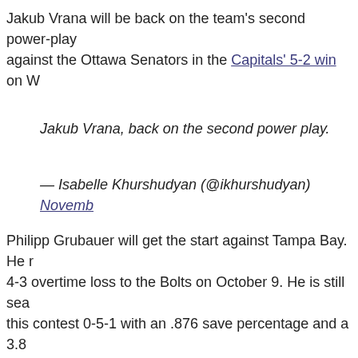Jakub Vrana will be back on the team's second power-play against the Ottawa Senators in the Capitals' 5-2 win on W
Jakub Vrana, back on the second power play.
— Isabelle Khurshudyan (@ikhurshudyan) Novemb
Philipp Grubauer will get the start against Tampa Bay. He r 4-3 overtime loss to the Bolts on October 9. He is still sea this contest 0-5-1 with an .876 save percentage and a 3.8 Lifetime against Tampa Bay, Grubauer is 3-0-1 with a .923 goals against average in four career outings.
Trotz on why Grubauer is starting front end of back- "Just to change it, maybe just change things a little, worked hard. He gets an opportunity at home here. just deserved it."